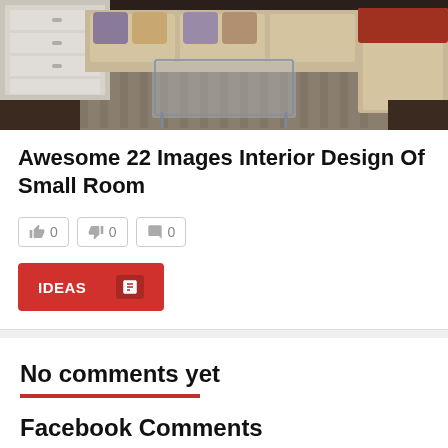[Figure (photo): Interior photo of a small living room with beige sofas, patterned pillows, a glass coffee table, and a striped rug on a dark wood floor. White dresser visible on the left.]
Awesome 22 Images Interior Design Of Small Room
0  0  0 (vote/like buttons)
IDEAS (button)
No comments yet
Facebook Comments